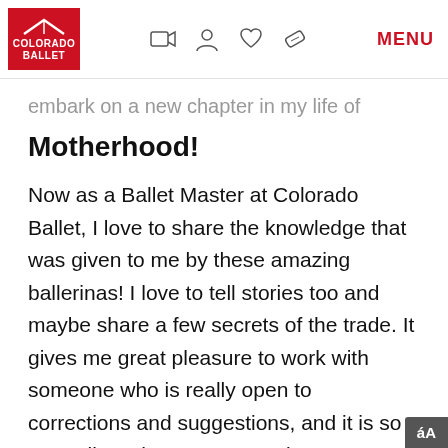Colorado Ballet | MENU
…embark on a new chapter in my life of Motherhood!
Now as a Ballet Master at Colorado Ballet, I love to share the knowledge that was given to me by these amazing ballerinas! I love to tell stories too and maybe share a few secrets of the trade. It gives me great pleasure to work with someone who is really open to corrections and suggestions, and it is so rewarding when you see a dancer you've been working with, who has been struggling with a particular movement,